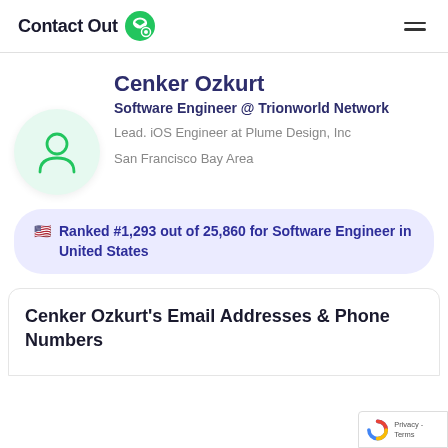ContactOut
Cenker Ozkurt
Software Engineer @ Trionworld Network
Lead. iOS Engineer at Plume Design, Inc
San Francisco Bay Area
Ranked #1,293 out of 25,860 for Software Engineer in United States
Cenker Ozkurt's Email Addresses & Phone Numbers